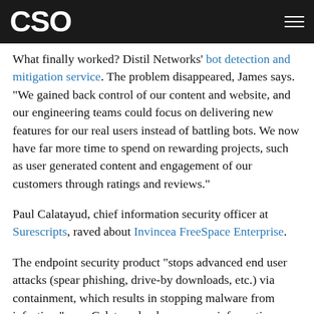CSO
What finally worked? Distil Networks' bot detection and mitigation service. The problem disappeared, James says. "We gained back control of our content and website, and our engineering teams could focus on delivering new features for our real users instead of battling bots. We now have far more time to spend on rewarding projects, such as user generated content and engagement of our customers through ratings and reviews."
Paul Calatayud, chief information security officer at Surescripts, raved about Invincea FreeSpace Enterprise.
The endpoint security product "stops advanced end user attacks (spear phishing, drive-by downloads, etc.) via containment, which results in stopping malware from infection," says Calatayud, who oversees information security,